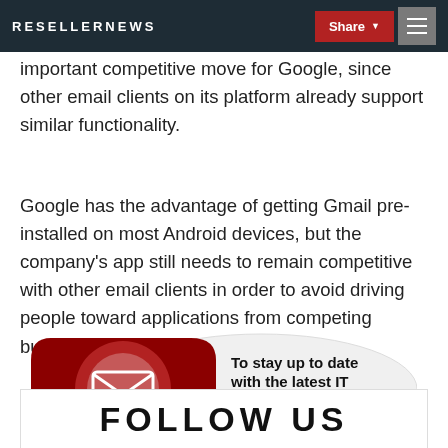RESELLERNEWS | Share | Menu
The two features are good news for Gmail users, and also an important competitive move for Google, since other email clients on its platform already support similar functionality.
Google has the advantage of getting Gmail pre-installed on most Android devices, but the company's app still needs to remain competitive with other email clients in order to avoid driving people toward applications from competing businesses like Microsoft.
[Figure (infographic): Subscribe banner with envelope/mail icon and text: To stay up to date with the latest IT industry news SUBSCRIBE HERE]
FOLLOW US